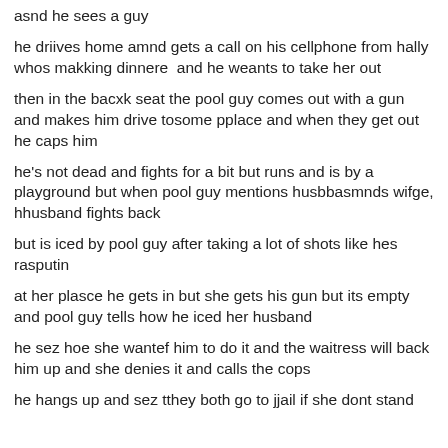asnd he sees a guy
he driives home amnd gets a call on his cellphone from hally whos makking dinnere  and he weants to take her out
then in the bacxk seat the pool guy comes out with a gun and makes him drive tosome pplace and when they get out he caps him
he's not dead and fights for a bit but runs and is by a playground but when pool guy mentions husbbasmnds wifge, hhusband fights back
but is iced by pool guy after taking a lot of shots like hes rasputin
at her plasce he gets in but she gets his gun but its empty and pool guy tells how he iced her husband
he sez hoe she wantef him to do it and the waitress will back him up and she denies it and calls the cops
he hangs up and sez tthey both go to jjail if she dont stand